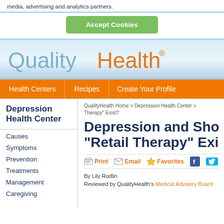media, advertising and analytics partners.
Accept Cookies
[Figure (logo): QualityHealth logo with 'Quality' in light blue and 'Health' in orange, registered trademark symbol]
Health Centers | Recipes | Create Your Profile
Depression Health Center
Causes
Symptoms
Prevention
Treatments
Management
Caregiving
QualityHealth Home > Depression Health Center > Therapy" Exist?
Depression and Sho... "Retail Therapy" Exi...
Print  Email  Favorites
By Lily Rodlin
Reviewed by QualityHealth's Medical Advisory Board